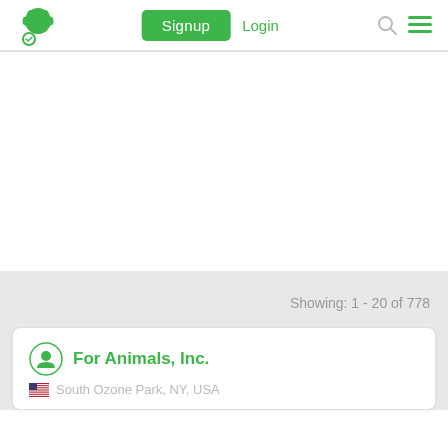Signup  Login
Showing: 1 - 20 of 778
For Animals, Inc.
South Ozone Park, NY, USA